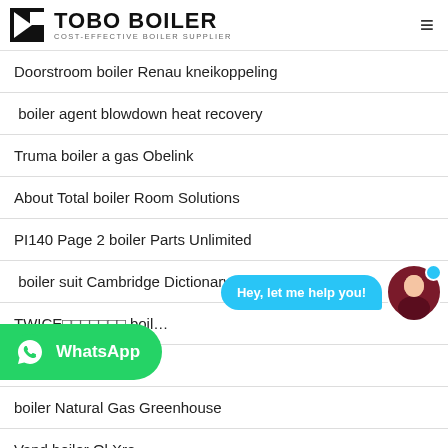TOBO BOILER – COST-EFFECTIVE BOILER SUPPLIER
Doorstroom boiler Renau kneikoppeling
boiler agent blowdown heat recovery
Truma boiler a gas Obelink
About Total boiler Room Solutions
PI140 Page 2 boiler Parts Unlimited
boiler suit Cambridge Dictionary
TWICE보일러 boil...
...tag on Twitter
boiler Natural Gas Greenhouse
Vand boiler Ol Xro